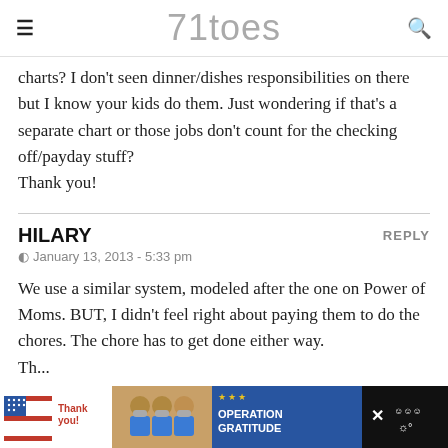71toes
charts? I don't seen dinner/dishes responsibilities on there but I know your kids do them. Just wondering if that's a separate chart or those jobs don't count for the checking off/payday stuff?
Thank you!
HILARY
January 13, 2013 - 5:33 pm
REPLY
We use a similar system, modeled after the one on Power of Moms. BUT, I didn't feel right about paying them to do the chores. The chore has to get done either way.
Th...
[Figure (screenshot): Advertisement banner at the bottom of the page showing a 'Thank you!' image with American flag motif, a photo of medical workers wearing masks holding cards, and an 'Operation Gratitude' logo on blue background, with a close button and weather widget.]